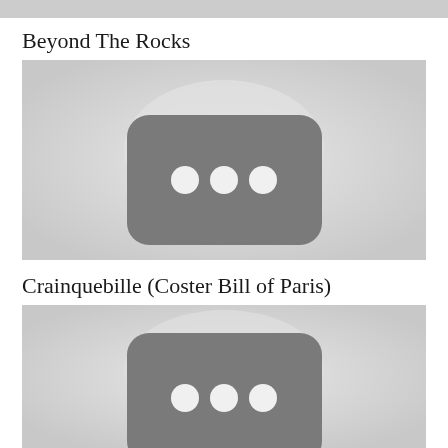[Figure (other): Cropped top portion of a video thumbnail placeholder with gray background]
Beyond The Rocks
[Figure (other): Video thumbnail placeholder with light gray background and a dark rounded rectangle containing three white dots in the center]
Crainquebille (Coster Bill of Paris)
[Figure (other): Video thumbnail placeholder with light gray background and a dark rounded rectangle containing three white dots, partially cropped at bottom]